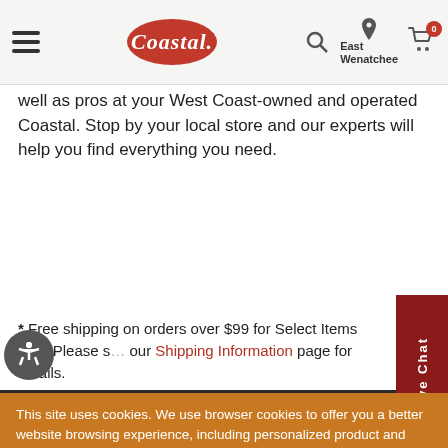Coastal — East Wenatchee
well as pros at your West Coast-owned and operated Coastal. Stop by your local store and our experts will help you find everything you need.
* Free shipping on orders over $99 for Select Items only. Please see our Shipping Information page for details.
[Figure (screenshot): Social media icons row (Facebook, Instagram, YouTube, Pinterest, Twitter) on dark background]
This site uses cookies. We use browser cookies to offer you a better website browsing experience, including personalized product and content recommendations. By using our website you agree to our Privacy Policy.
Learn More
Accept